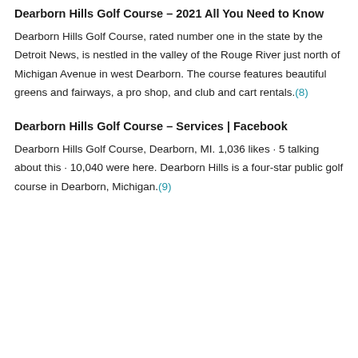Dearborn Hills Golf Course – 2021 All You Need to Know
Dearborn Hills Golf Course, rated number one in the state by the Detroit News, is nestled in the valley of the Rouge River just north of Michigan Avenue in west Dearborn. The course features beautiful greens and fairways, a pro shop, and club and cart rentals.(8)
Dearborn Hills Golf Course – Services | Facebook
Dearborn Hills Golf Course, Dearborn, MI. 1,036 likes · 5 talking about this · 10,040 were here. Dearborn Hills is a four-star public golf course in Dearborn, Michigan.(9)